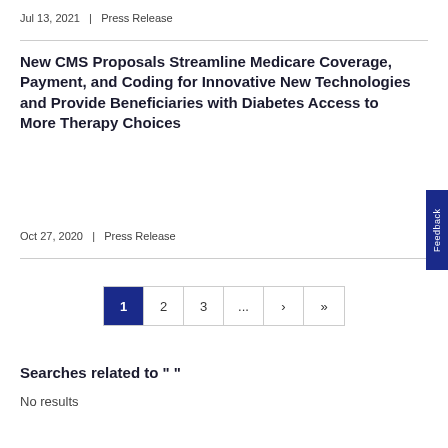Jul 13, 2021  |  Press Release
New CMS Proposals Streamline Medicare Coverage, Payment, and Coding for Innovative New Technologies and Provide Beneficiaries with Diabetes Access to More Therapy Choices
Oct 27, 2020  |  Press Release
1  2  3  ...  ›  »
Searches related to " "
No results